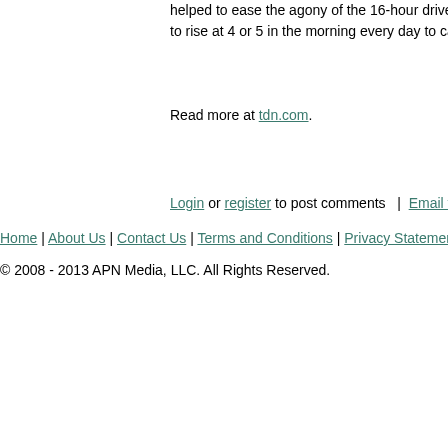helped to ease the agony of the 16-hour drive, and with to rise at 4 or 5 in the morning every day to catch the s
Read more at tdn.com.
Login or register to post comments  |  Email this page
Home | About Us | Contact Us | Terms and Conditions | Privacy Statement | Oh, Ra
© 2008 - 2013 APN Media, LLC. All Rights Reserved.